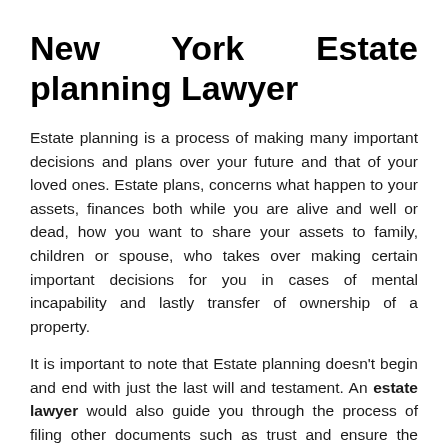New York Estate planning Lawyer
Estate planning is a process of making many important decisions and plans over your future and that of your loved ones. Estate plans, concerns what happen to your assets, finances both while you are alive and well or dead, how you want to share your assets to family, children or spouse, who takes over making certain important decisions for you in cases of mental incapability and lastly transfer of ownership of a property.
It is important to note that Estate planning doesn't begin and end with just the last will and testament. An estate lawyer would also guide you through the process of filing other documents such as trust and ensure the beneficiaries of your estate gets them. Also, in preparing for future uncertainties, it is expected that you plan